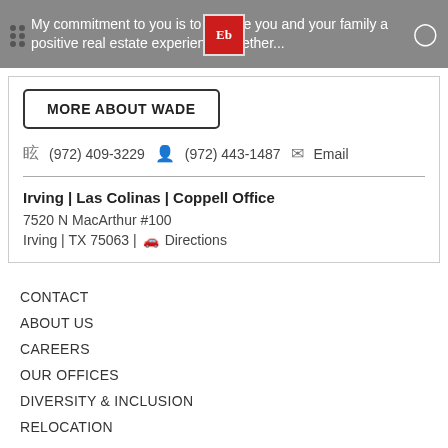My commitment to you is to provide you and your family a positive real estate experience whether...
MORE ABOUT WADE
(972) 409-3229  (972) 443-1487  Email
Irving | Las Colinas | Coppell Office
7520 N MacArthur #100
Irving | TX 75063 | Directions
CONTACT
ABOUT US
CAREERS
OUR OFFICES
DIVERSITY & INCLUSION
RELOCATION